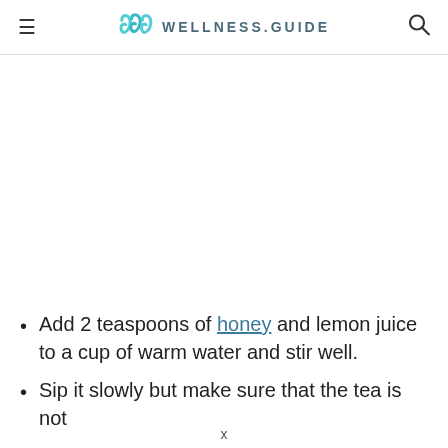≡  WELLNESS.GUIDE  🔍
Add 2 teaspoons of honey and lemon juice to a cup of warm water and stir well.
Sip it slowly but make sure that the tea is not